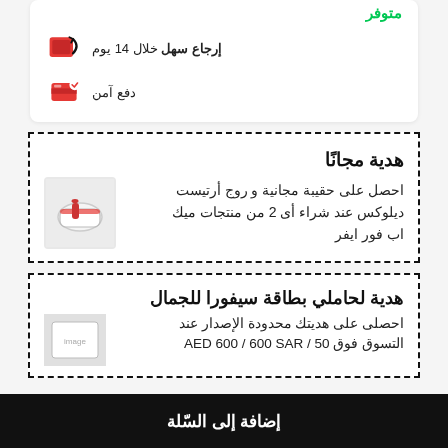متوفر
إرجاع سهل خلال 14 يوم
دفع آمن
هدية مجانًا
احصل على حقيبة مجانية و روج أرتيست ديلوكس عند شراء أى 2 من منتجات ميك اب فور ايفر
هدية لحاملي بطاقة سيفورا للجمال
احصلى على هديتك محدودة الإصدار عند التسوق فوق AED 600 / 600 SAR / 50
إضافة إلى السّلة